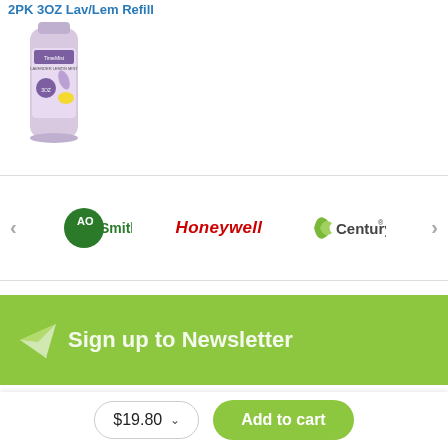2PK 3OZ Lav/Lem Refill
[Figure (photo): TimeMist lavender lemon 3oz aerosol refill spray can with lavender and lemon imagery on label]
[Figure (logo): Brand carousel showing AO Smith logo (green circle with AO text), Honeywell logo (red italic text), and Century logo (green swoosh with Century text), with left and right navigation arrows]
[Figure (infographic): Green newsletter signup banner with paper airplane icon and 'Sign up to Newsletter' text]
$19.80
Add to cart